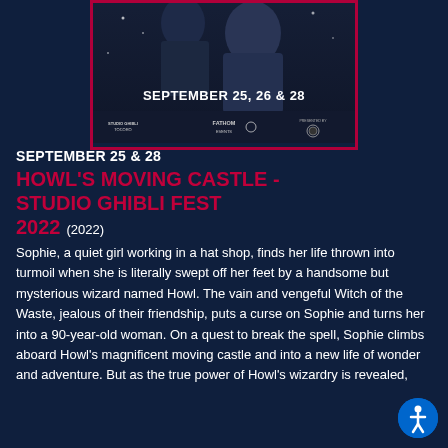[Figure (illustration): Movie poster for Howl's Moving Castle - Studio Ghibli Fest 2022, showing anime characters on dark blue background with text 'SEPTEMBER 25, 26 & 28' and logos for Studio Ghibli TOCORO, Fathom Events, and a presented-by logo. Bordered in dark red/crimson.]
SEPTEMBER 25 & 28
HOWL'S MOVING CASTLE - STUDIO GHIBLI FEST 2022 (2022)
Sophie, a quiet girl working in a hat shop, finds her life thrown into turmoil when she is literally swept off her feet by a handsome but mysterious wizard named Howl. The vain and vengeful Witch of the Waste, jealous of their friendship, puts a curse on Sophie and turns her into a 90-year-old woman. On a quest to break the spell, Sophie climbs aboard Howl's magnificent moving castle and into a new life of wonder and adventure. But as the true power of Howl's wizardry is revealed,